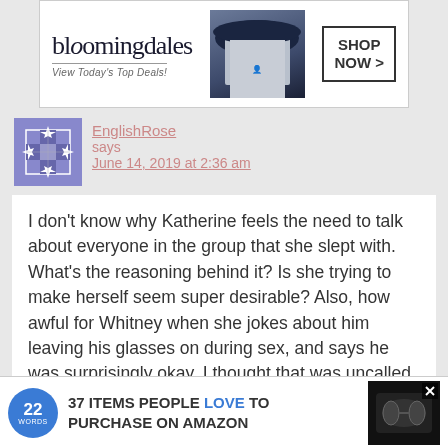[Figure (screenshot): Bloomingdale's advertisement banner: 'View Today's Top Deals!' with a woman in a hat and 'SHOP NOW >' button]
EnglishRose says
June 14, 2019 at 2:36 am
I don't know why Katherine feels the need to talk about everyone in the group that she slept with. What's the reasoning behind it? Is she trying to make herself seem super desirable? Also, how awful for Whitney when she jokes about him leaving his glasses on during sex, and says he was surprisingly okay. I thought that was uncalled for, just as it would have been if one of the guys had talked that way about her. Everyone was so supportive of her last year, but if she keeps on like she's acting this year, I think people turn against her again. She's not coming off well.
[Figure (screenshot): 22 Words advertisement: '37 ITEMS PEOPLE LOVE TO PURCHASE ON AMAZON' with wireless earbuds image]